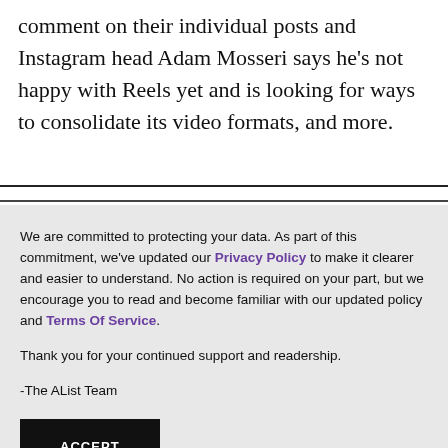comment on their individual posts and Instagram head Adam Mosseri says he's not happy with Reels yet and is looking for ways to consolidate its video formats, and more.
We are committed to protecting your data. As part of this commitment, we've updated our Privacy Policy to make it clearer and easier to understand. No action is required on your part, but we encourage you to read and become familiar with our updated policy and Terms Of Service.

Thank you for your continued support and readership.

-The AList Team
ACCEPT